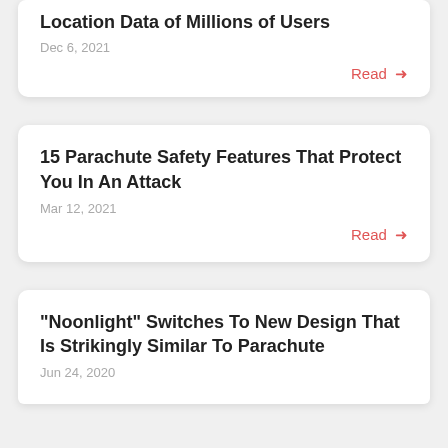Location Data of Millions of Users
Dec 6, 2021
Read →
15 Parachute Safety Features That Protect You In An Attack
Mar 12, 2021
Read →
“Noonlight” Switches To New Design That Is Strikingly Similar To Parachute
Jun 24, 2020